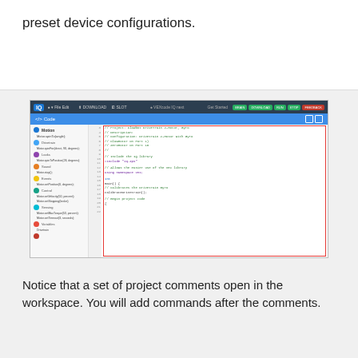preset device configurations.
[Figure (screenshot): IQ IDE screenshot showing Motion block commands in the sidebar and C++ code editor with project comments in a red-bordered workspace panel. The code panel shows project header comments and includes for the IQ library.]
Notice that a set of project comments open in the workspace. You will add commands after the comments.